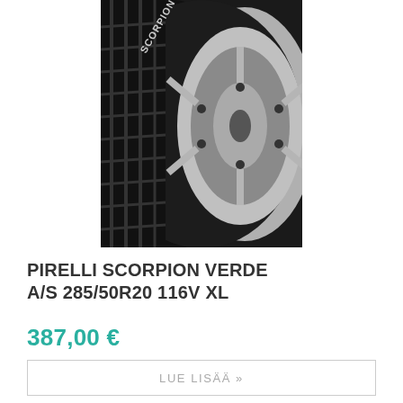[Figure (photo): Close-up photo of a Pirelli Scorpion Verde A/S tire showing tread pattern and alloy wheel rim, black and white/grey tones]
PIRELLI SCORPION VERDE A/S 285/50R20 116V XL
387,00 €
LUE LISÄÄ »